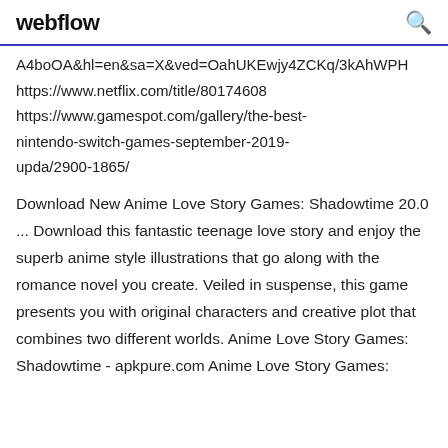webflow
A4boOA&hl=en&sa=X&ved=OahUKEwjy4ZCKq/3kAhWPH
https://www.netflix.com/title/80174608
https://www.gamespot.com/gallery/the-best-nintendo-switch-games-september-2019-upda/2900-1865/
Download New Anime Love Story Games: Shadowtime 20.0 ... Download this fantastic teenage love story and enjoy the superb anime style illustrations that go along with the romance novel you create. Veiled in suspense, this game presents you with original characters and creative plot that combines two different worlds. Anime Love Story Games: Shadowtime - apkpure.com Anime Love Story Games: